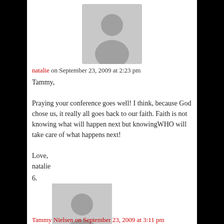[Figure (illustration): Grey placeholder avatar icon with silhouette of a person, centered at top]
natalie on September 23, 2009 at 2:23 pm
Tammy,

Praying your conference goes well! I think, because God chose us, it really all goes back to our faith. Faith is not knowing what will happen next but knowingWHO will take care of what happens next!

Love,
natalie
6.
[Figure (illustration): Grey placeholder avatar icon with silhouette of a person, left-indented]
Tammy Nielsen on September 23, 2009 at 3:11 pm